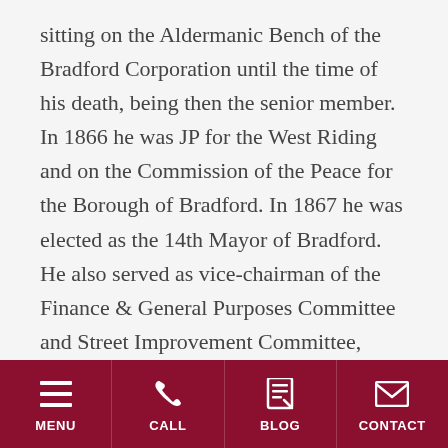sitting on the Aldermanic Bench of the Bradford Corporation until the time of his death, being then the senior member. In 1866 he was JP for the West Riding and on the Commission of the Peace for the Borough of Bradford. In 1867 he was elected as the 14th Mayor of Bradford. He also served as vice-chairman of the Finance & General Purposes Committee and Street Improvement Committee, enabling the erection of suitable markets, including having St James named after him and Kirkgate being regarded as a fine example of work he was responsible for.
MENU | CALL | BLOG | CONTACT